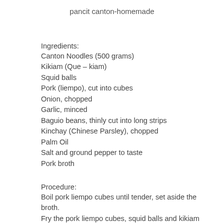pancit canton-homemade
Ingredients:
Canton Noodles (500 grams)
Kikiam (Que – kiam)
Squid balls
Pork (liempo), cut into cubes
Onion, chopped
Garlic, minced
Baguio beans, thinly cut into long strips
Kinchay (Chinese Parsley), chopped
Palm Oil
Salt and ground pepper to taste
Pork broth
Procedure:
Boil pork liempo cubes until tender, set aside the broth.
Fry the pork liempo cubes, squid balls and kikiam until golden brown, set aside.